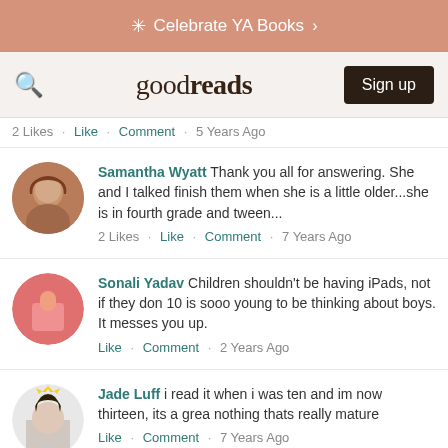Celebrate YA Books >
[Figure (screenshot): Goodreads navigation bar with search icon, logo, and Sign up button]
2 Likes · Like · Comment · 5 Years Ago
Samantha Wyatt Thank you all for answering. She and I talked finish them when she is a little older...she is in fourth grade and tween...
2 Likes · Like · Comment · 7 Years Ago
Sonali Yadav Children shouldn't be having iPads, not if they don 10 is sooo young to be thinking about boys. It messes you up.
Like · Comment · 2 Years Ago
Jade Luff i read it when i was ten and im now thirteen, its a grea nothing thats really mature
Like · Comment · 7 Years Ago
jayda Martinez you should not be that concerned your daughte double digit ages mostly for 11 or 12 but she is no that far she...